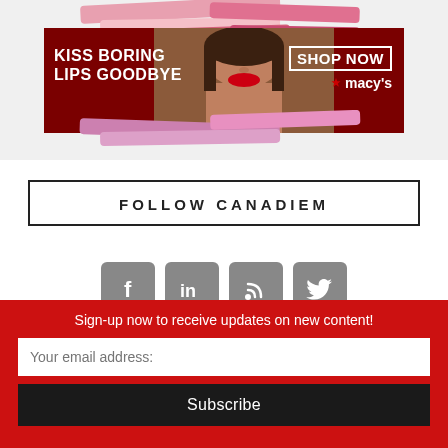[Figure (illustration): Macy's advertisement banner: 'KISS BORING LIPS GOODBYE' with a model wearing red lipstick, SHOP NOW button, Macy's logo, and colorful lipstick streaks in background. Dark red background.]
FOLLOW CANADIEM
[Figure (infographic): Four social media icon buttons in grey rounded squares: Facebook (f), LinkedIn (in), RSS feed, Twitter (bird icon)]
Sign-up now to receive updates on new content!
Your email address:
Subscribe